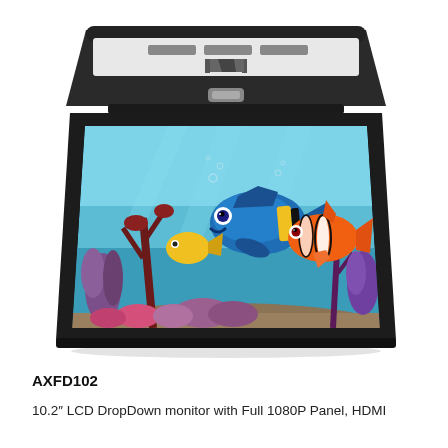[Figure (photo): A flip-down LCD monitor (AXFD102) viewed from above showing the open position with a screen displaying Finding Nemo animated fish in an underwater coral reef scene. The unit is black with a white/silver strip and control buttons on top.]
AXFD102
10.2″ LCD DropDown monitor with Full 1080P Panel, HDMI